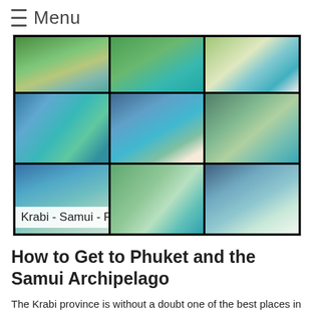Menu
[Figure (photo): Collage of 9 tropical beach/island photos from Thailand (Krabi, Samui, Phuket), arranged in a 3-column grid with a text overlay reading 'Krabi - Samui - Phuket']
How to Get to Phuket and the Samui Archipelago
The Krabi province is without a doubt one of the best places in Thailand to spend a family holiday. There are just as many activities to engage in as there are islands to visit. Even the